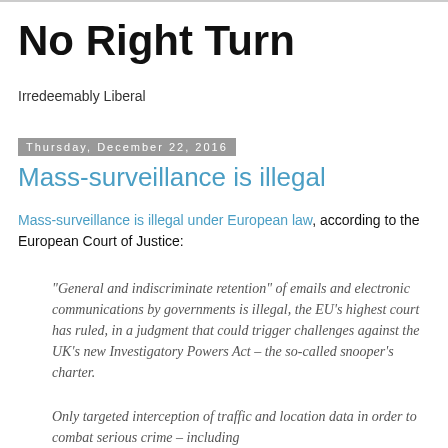No Right Turn
Irredeemably Liberal
Thursday, December 22, 2016
Mass-surveillance is illegal
Mass-surveillance is illegal under European law, according to the European Court of Justice:
“General and indiscriminate retention” of emails and electronic communications by governments is illegal, the EU’s highest court has ruled, in a judgment that could trigger challenges against the UK’s new Investigatory Powers Act – the so-called snooper’s charter.
Only targeted interception of traffic and location data in order to combat serious crime – including